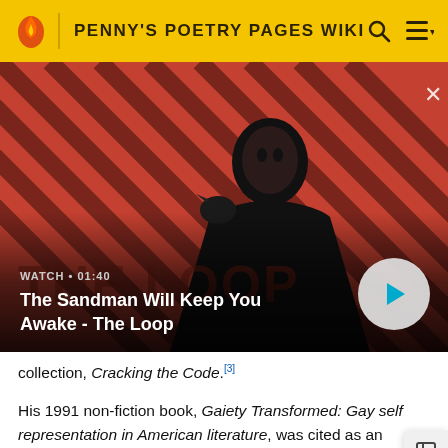PENNY'S POETRY PAGES WIKI
[Figure (screenshot): Video thumbnail showing a dark figure with a raven on their shoulder against a red and black diagonal striped background. Title reads 'The Sandman Will Keep You Awake - The Loop'. Duration shown as 01:40.]
collection, Cracking the Code.[3]
His 1991 non-fiction book, Gaiety Transformed: Gay self representation in American literature, was cited as an Outstanding Book of the Year by both Choice and the Gustavus Myers Center for Human Rights.[4]